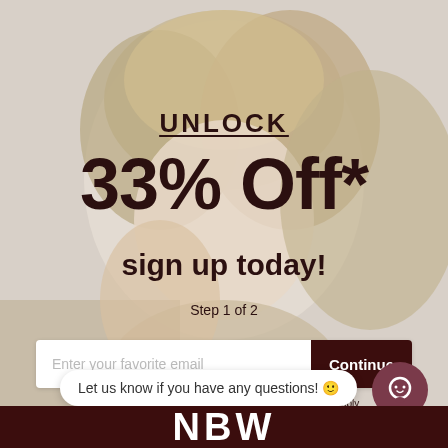[Figure (photo): Background photo of a woman with short blonde wavy hair, looking down, wearing a beige knit sweater, on a light beige background.]
UNLOCK
33% Off*
sign up today!
Step 1 of 2
Enter your favorite email
Continue
Terms & Conditions | Privacy Policy |*Some Exclusions Apply
Let us know if you have any questions! 😊
NBW